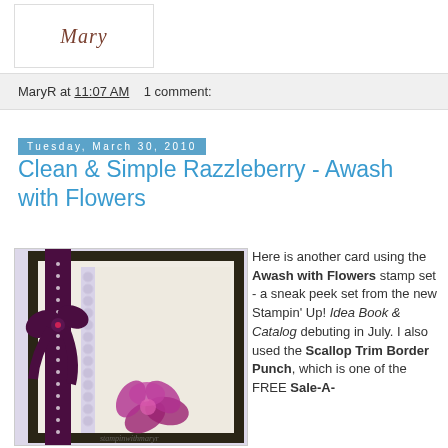[Figure (logo): Cursive/script style blog logo with stylized text]
MaryR at 11:07 AM   1 comment:
Tuesday, March 30, 2010
Clean & Simple Razzleberry - Awash with Flowers
[Figure (photo): Handmade greeting card with dark purple/razzleberry ribbon bow, polka-dot ribbon, scallop border trim, and flower stamp featuring Awash with Flowers stamp set]
Here is another card using the Awash with Flowers stamp set - a sneak peek set from the new Stampin' Up! Idea Book & Catalog debuting in July. I also used the Scallop Trim Border Punch, which is one of the FREE Sale-A-